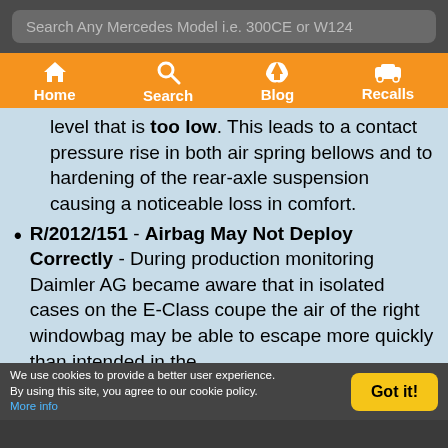Search Any Mercedes Model i.e. 300CE or W124
Home | Search | Blog | Recalls
level that is too low. This leads to a contact pressure rise in both air spring bellows and to hardening of the rear-axle suspension causing a noticeable loss in comfort.
R/2012/151 - Airbag May Not Deploy Correctly - During production monitoring Daimler AG became aware that in isolated cases on the E-Class coupe the air of the right windowbag may be able to escape more quickly than intended in the
We use cookies to provide a better user experience. By using this site, you agree to our cookie policy. More info  Got it!